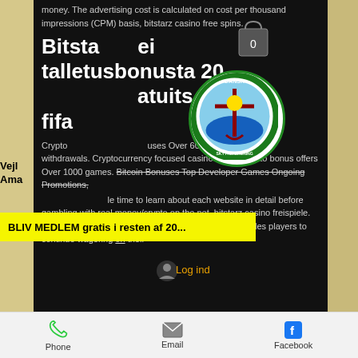money. The advertising cost is calculated on cost per thousand impressions (CPM) basis, bitstarz casino free spins.
Bitstarz ei talletusbonusta 20 spins gratuits, bitstarz fifa
Cryptocurrency bonuses Over 600 slots games Fast withdrawals. Cryptocurrency focused casino Super Crypto bonus offers Over 1000 games. Bitcoin Bonuses Top Developer Games Ongoing Promotions,
BLIV MEDLEM gratis i resten af 20...
le time to learn about each website in detail before gambling with real money/crypto on the net, bitstarz casino freispiele. Generally, sites that allow crypto-currency betting enables players to continue wagering on their
Vejl Ama
Log ind
Phone   Email   Facebook